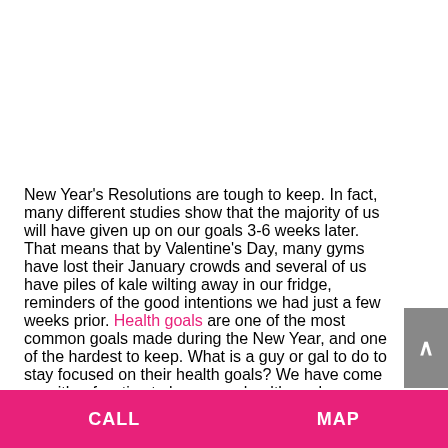New Year's Resolutions are tough to keep. In fact, many different studies show that the majority of us will have given up on our goals 3-6 weeks later. That means that by Valentine's Day, many gyms have lost their January crowds and several of us have piles of kale wilting away in our fridge, reminders of the good intentions we had just a few weeks prior. Health goals are one of the most common goals made during the New Year, and one of the hardest to keep. What is a guy or gal to do to stay focused on their health goals? We have come up with a few tips to keep your health goals on track.
CALL    MAP